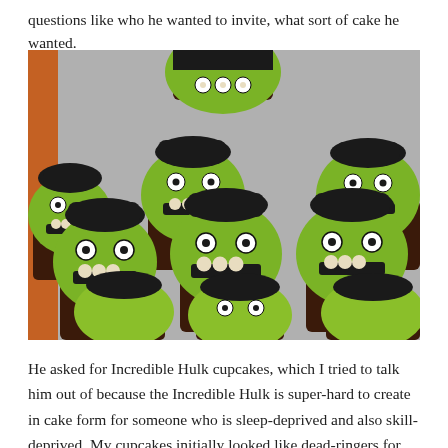questions like who he wanted to invite, what sort of cake he wanted.
[Figure (photo): Photo of multiple green Frankenstein/Incredible Hulk monster themed cupcakes with black hair frosting, candy eyes, and white candy teeth on a gray surface.]
He asked for Incredible Hulk cupcakes, which I tried to talk him out of because the Incredible Hulk is super-hard to create in cake form for someone who is sleep-deprived and also skill-deprived. My cupcakes initially looked like dead-ringers for Oscar the Grouch, and even after a lot of work look like monsters,